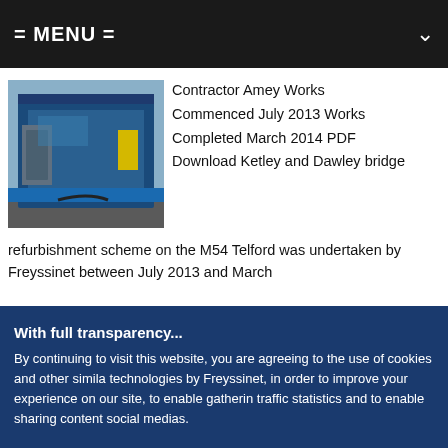= MENU =
[Figure (photo): Photo of a bridge refurbishment site showing a blue door/entrance structure]
Contractor Amey Works Commenced July 2013 Works Completed March 2014 PDF Download Ketley and Dawley bridge refurbishment scheme on the M54 Telford was undertaken by Freyssinet between July 2013 and March
With full transparency...
By continuing to visit this website, you are agreeing to the use of cookies and other similar technologies by Freyssinet, in order to improve your experience on our site, to enable gathering traffic statistics and to enable sharing content social medias.
Accept
Cookies Settings